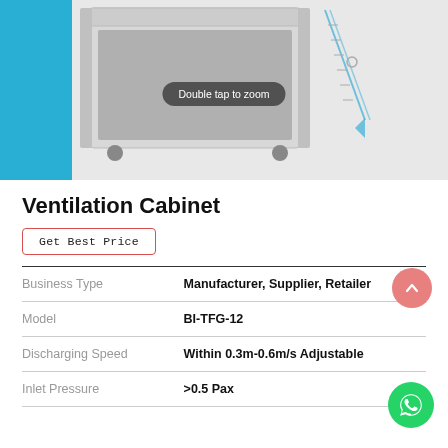[Figure (photo): Photo of a ventilation cabinet (biosafety/chemical cabinet) on wheels, with a blue accent panel on the left side. A 'Double tap to zoom' tooltip is overlaid on the image.]
Ventilation Cabinet
Get Best Price
| Property | Value |
| --- | --- |
| Business Type | Manufacturer, Supplier, Retailer |
| Model | BI-TFG-12 |
| Discharging Speed | Within 0.3m-0.6m/s Adjustable |
| Inlet Pressure | >0.5 Pax |